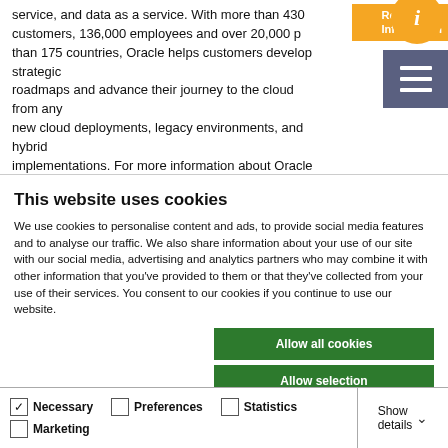service, and data as a service. With more than 430 customers, 136,000 employees and over 20,000 p than 175 countries, Oracle helps customers develop strategic roadmaps and advance their journey to the cloud from any new cloud deployments, legacy environments, and hybrid implementations. For more information about Oracle (NYSE:ORCL), visit oracle.com.
This website uses cookies
We use cookies to personalise content and ads, to provide social media features and to analyse our traffic. We also share information about your use of our site with our social media, advertising and analytics partners who may combine it with other information that you've provided to them or that they've collected from your use of their services. You consent to our cookies if you continue to use our website.
Allow all cookies
Allow selection
Use necessary cookies only
Necessary  Preferences  Statistics  Marketing  Show details